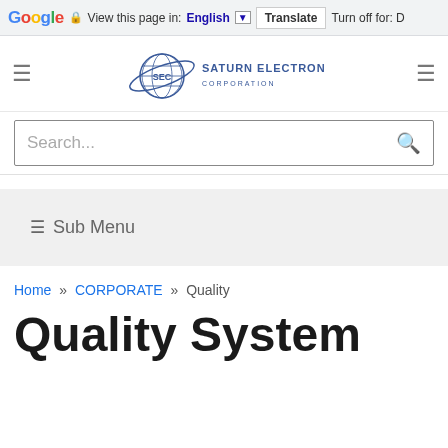Google  View this page in: English  Translate  Turn off for: D
[Figure (logo): Saturn Electronics Corporation (SEC) logo with globe and orbital ring, company name in blue text]
Search...
≡ Sub Menu
Home » CORPORATE » Quality
Quality System